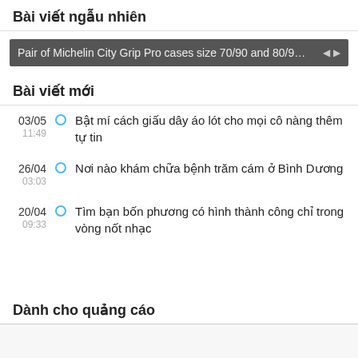Bài viết ngẫu nhiên
Pair of Michelin City Grip Pro cases size 70/90 and 80/9…
Bài viết mới
03/05 11:49 — Bật mí cách giấu dây áo lót cho mọi cô nàng thêm tự tin
26/04 03:03 — Nơi nào khám chữa bệnh trăm cám ở Bình Dương
20/04 09:33 — Tìm bạn bốn phương có hình thành công chỉ trong vòng nốt nhạc
Dành cho quảng cáo